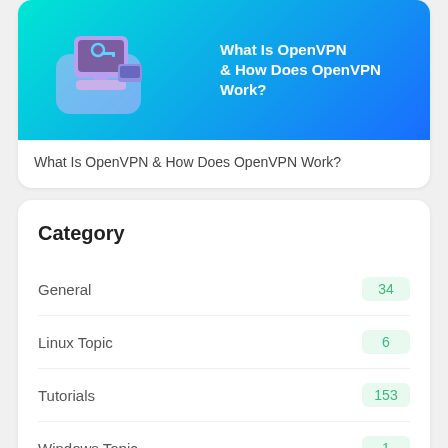[Figure (illustration): Banner image with cyan-to-blue gradient background showing a 3D isometric illustration of a computer with a key/VPN icon on the left, and the text 'What Is OpenVPN & How Does OpenVPN Work?' on the right in white.]
What Is OpenVPN & How Does OpenVPN Work?
Category
General   34
Linux Topic   6
Tutorials   153
Windows Topic   1